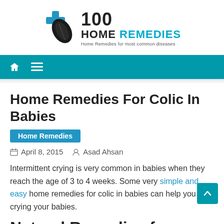[Figure (logo): 100 Home Remedies logo with blue cross, leaf, and text '100 HOME REMEDIES — Home Remedies for most common diseases']
[Figure (screenshot): Teal navigation bar with home icon and hamburger menu icon]
Home Remedies For Colic In Babies
Home Remedies
April 8, 2015   Asad Ahsan
Intermittent crying is very common in babies when they reach the age of 3 to 4 weeks. Some very simple and easy home remedies for colic in babies can help you stop crying your babies.
Natural Remedies for Colic in